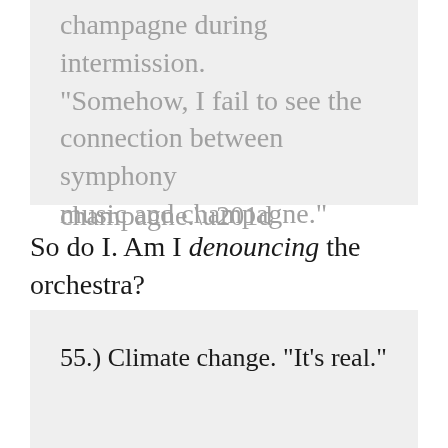champagne during intermission. “Somehow, I fail to see the connection between symphony music and champagne.”
So do I. Am I denouncing the orchestra?
55.) Climate change. “It’s real.”